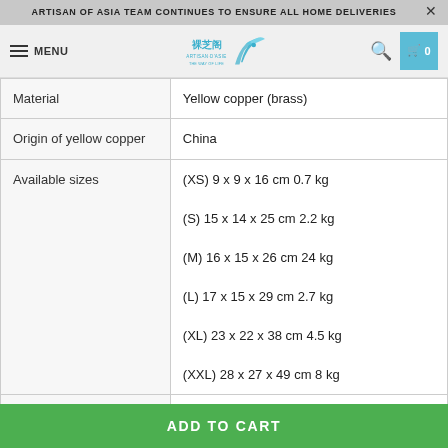ARTISAN OF ASIA TEAM CONTINUES TO ENSURE ALL HOME DELIVERIES
[Figure (logo): Artisan of Asia logo with Chinese characters and bird illustration]
| Attribute | Value |
| --- | --- |
| Material | Yellow copper (brass) |
| Origin of yellow copper | China |
| Available sizes | (XS) 9 x 9 x 16 cm 0.7 kg
(S) 15 x 14 x 25 cm 2.2 kg
(M) 16 x 15 x 26 cm 24 kg
(L) 17 x 15 x 29 cm 2.7 kg
(XL) 23 x 22 x 38 cm 4.5 kg
(XXL) 28 x 27 x 49 cm 8 kg |
| Manufacturing type | 100% artisanal manufacturing |
ADD TO CART